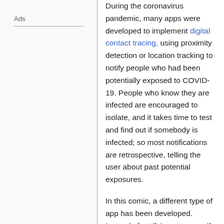Ads
During the coronavirus pandemic, many apps were developed to implement digital contact tracing, using proximity detection or location tracking to notify people who had been potentially exposed to COVID-19. People who know they are infected are encouraged to isolate, and it takes time to test and find out if somebody is infected; so most notifications are retrospective, telling the user about past potential exposures.
In this comic, a different type of app has been developed. Instead of notifying someone if they have been exposed to someone with COVID-19, the app produces notifications if they have been exposed to someone who has not